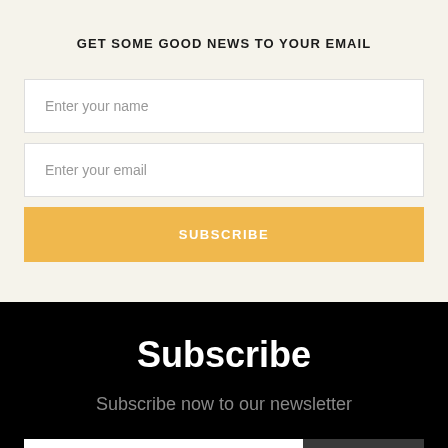GET SOME GOOD NEWS TO YOUR EMAIL
Enter your name
Enter your email
SUBSCRIBE
Subscribe
Subscribe now to our newsletter
Enter your email
SUBSCRIBE